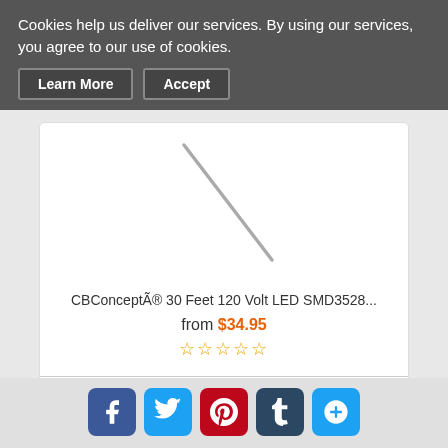Cookies help us deliver our services. By using our services, you agree to our use of cookies.
Learn More  Accept
[Figure (photo): Product image placeholder showing a diagonal line on white background, representing a LED strip light product]
CBConceptÃ® 30 Feet 120 Volt LED SMD3528...
from $34.95
★★★★★ (star rating, empty stars)
View
Add to Cart
Facebook  Twitter  Pinterest  Tumblr  Share